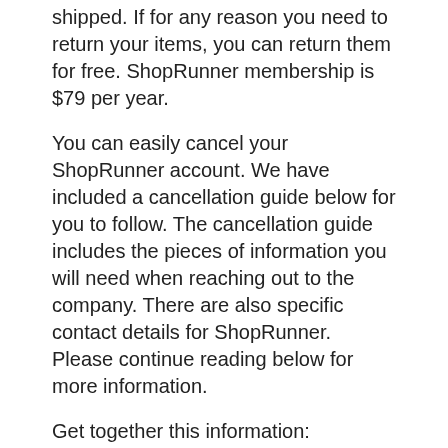shipped. If for any reason you need to return your items, you can return them for free. ShopRunner membership is $79 per year.
You can easily cancel your ShopRunner account. We have included a cancellation guide below for you to follow. The cancellation guide includes the pieces of information you will need when reaching out to the company. There are also specific contact details for ShopRunner. Please continue reading below for more information.
Get together this information:
First Name
Last Name
Phone Number
Email Address
Username
Password